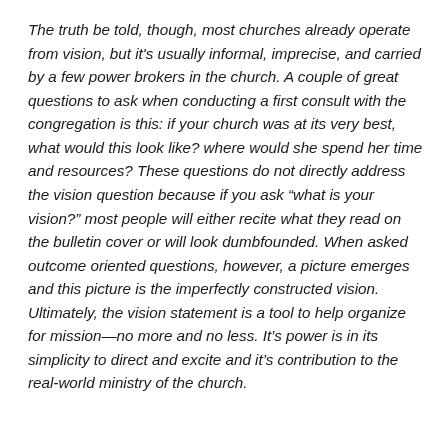The truth be told, though, most churches already operate from vision, but it's usually informal, imprecise, and carried by a few power brokers in the church. A couple of great questions to ask when conducting a first consult with the congregation is this: if your church was at its very best, what would this look like? where would she spend her time and resources? These questions do not directly address the vision question because if you ask “what is your vision?” most people will either recite what they read on the bulletin cover or will look dumbfounded. When asked outcome oriented questions, however, a picture emerges and this picture is the imperfectly constructed vision. Ultimately, the vision statement is a tool to help organize for mission—no more and no less. It’s power is in its simplicity to direct and excite and it’s contribution to the real-world ministry of the church.